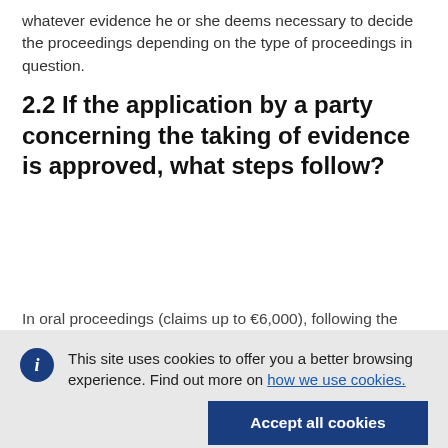whatever evidence he or she deems necessary to decide the proceedings depending on the type of proceedings in question.
2.2 If the application by a party concerning the taking of evidence is approved, what steps follow?
In oral proceedings (claims up to €6,000), following the proposal
This site uses cookies to offer you a better browsing experience. Find out more on how we use cookies.
Accept all cookies
Accept only essential cookies